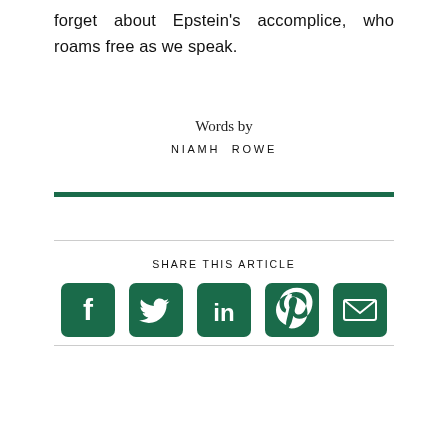forget about Epstein's accomplice, who roams free as we speak.
Words by
NIAMH ROWE
SHARE THIS ARTICLE
[Figure (infographic): Social share icons: Facebook, Twitter, LinkedIn, Pinterest, Email — rendered as white icons on dark green rounded-square backgrounds, with dotted underline separators]